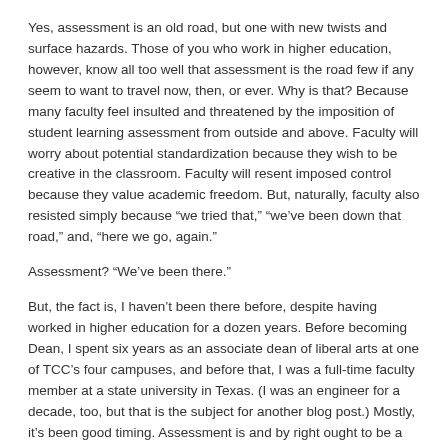Yes, assessment is an old road, but one with new twists and surface hazards. Those of you who work in higher education, however, know all too well that assessment is the road few if any seem to want to travel now, then, or ever. Why is that? Because many faculty feel insulted and threatened by the imposition of student learning assessment from outside and above. Faculty will worry about potential standardization because they wish to be creative in the classroom. Faculty will resent imposed control because they value academic freedom. But, naturally, faculty also resisted simply because “we tried that,” “we’ve been down that road,” and, “here we go, again.”
Assessment? “We’ve been there.”
But, the fact is, I haven’t been there before, despite having worked in higher education for a dozen years. Before becoming Dean, I spent six years as an associate dean of liberal arts at one of TCC’s four campuses, and before that, I was a full-time faculty member at a state university in Texas. (I was an engineer for a decade, too, but that is the subject for another blog post.) Mostly, it’s been good timing. Assessment is and by right ought to be a responsibility of the faculty, but I don’t recall doing much of it when I was a history professor, and I left my faculty position to come to Tulsa just before the current assessment and accountability bug hit Texas.